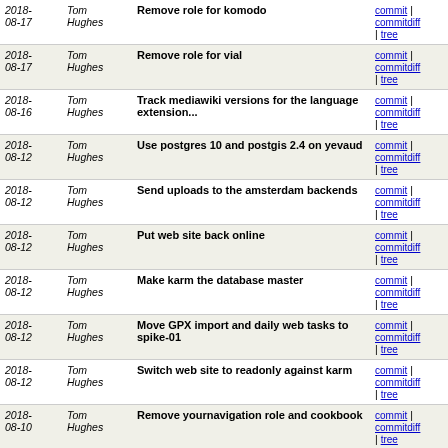| Date | Author | Message | Links |
| --- | --- | --- | --- |
| 2018-08-17 | Tom Hughes | Remove role for komodo | commit | commitdiff | tree |
| 2018-08-17 | Tom Hughes | Remove role for vial | commit | commitdiff | tree |
| 2018-08-16 | Tom Hughes | Track mediawiki versions for the language extension... | commit | commitdiff | tree |
| 2018-08-12 | Tom Hughes | Use postgres 10 and postgis 2.4 on yevaud | commit | commitdiff | tree |
| 2018-08-12 | Tom Hughes | Send uploads to the amsterdam backends | commit | commitdiff | tree |
| 2018-08-12 | Tom Hughes | Put web site back online | commit | commitdiff | tree |
| 2018-08-12 | Tom Hughes | Make karm the database master | commit | commitdiff | tree |
| 2018-08-12 | Tom Hughes | Move GPX import and daily web tasks to spike-01 | commit | commitdiff | tree |
| 2018-08-12 | Tom Hughes | Switch web site to readonly against karm | commit | commitdiff | tree |
| 2018-08-10 | Tom Hughes | Remove yournavigation role and cookbook | commit | commitdiff | tree |
| 2018-08-10 | Tom Hughes | Add tilecache role to angor | commit | commitdiff | tree |
| 2018-08-10 | Tom Hughes | Use PHP 7.2 for Nominatim on 18.04 | commit | commitdiff | tree |
| 2018-08-07 | Tom Hughes | Use postgres 10 and postgis 2.4 on orm | commit | commitdiff | tree |
| 2018-08- | Tom | Import os | commit | commitdiff |